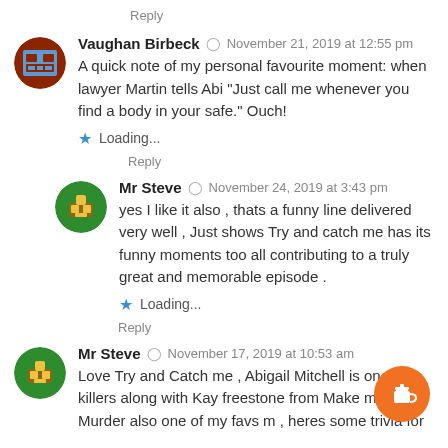Reply
Vaughan Birbeck   November 21, 2019 at 12:55 pm
A quick note of my personal favourite moment: when lawyer Martin tells Abi "Just call me whenever you find a body in your safe." Ouch!
Loading...
Reply
Mr Steve   November 24, 2019 at 3:43 pm
yes I like it also , thats a funny line delivered very well , Just shows Try and catch me has its funny moments too all contributing to a truly great and memorable episode .
Loading...
Reply
Mr Steve   November 17, 2019 at 10:53 am
Love Try and Catch me , Abigail Mitchell is one of m killers along with Kay freestone from Make me a pe Murder also one of my favs m , heres some trivia for